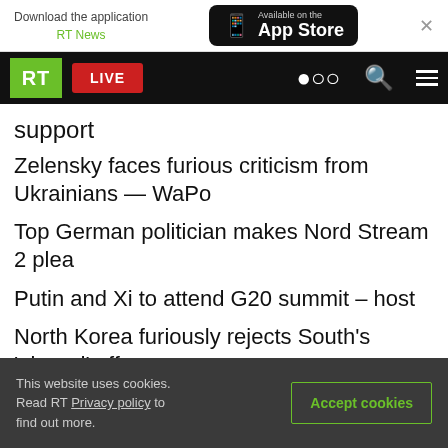Download the application RT News | Available on the App Store
RT LIVE
support
Zelensky faces furious criticism from Ukrainians — WaPo
Top German politician makes Nord Stream 2 plea
Putin and Xi to attend G20 summit – host
North Korea furiously rejects South's 'absurd' offer
$13 million gold heist busted at Moscow airport
This website uses cookies. Read RT Privacy policy to find out more. | Accept cookies